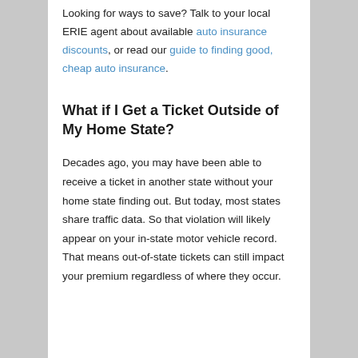Looking for ways to save? Talk to your local ERIE agent about available auto insurance discounts, or read our guide to finding good, cheap auto insurance.
What if I Get a Ticket Outside of My Home State?
Decades ago, you may have been able to receive a ticket in another state without your home state finding out. But today, most states share traffic data. So that violation will likely appear on your in-state motor vehicle record. That means out-of-state tickets can still impact your premium regardless of where they occur.